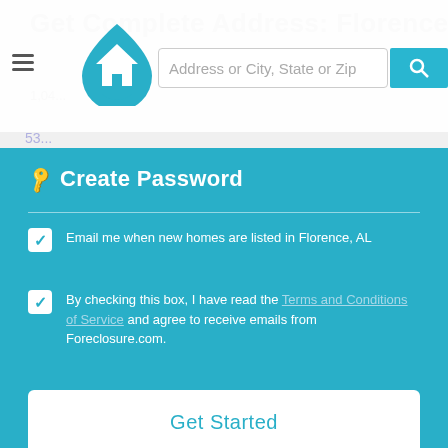[Figure (screenshot): Website header with hamburger menu, house logo icon, search bar reading 'Address or City, State or Zip', and teal search button with magnifier icon]
[Figure (screenshot): Teal modal panel titled 'Create Password' with a key icon, a divider line, two checked checkboxes with labels, and a white 'Get Started' button]
Nearby Foreclosures
Homes near Minniehaha St in Florence, Alabama